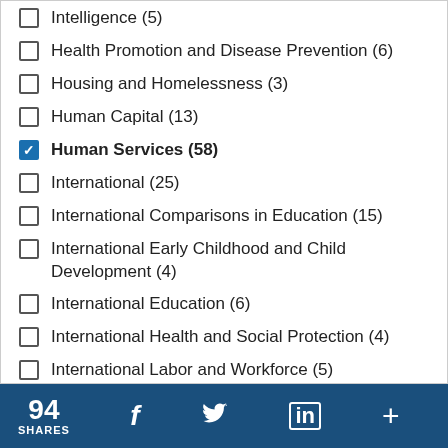Intelligence (5)
Health Promotion and Disease Prevention (6)
Housing and Homelessness (3)
Human Capital (13)
Human Services (58) [checked]
International (25)
International Comparisons in Education (15)
International Early Childhood and Child Development (4)
International Education (6)
International Health and Social Protection (4)
International Labor and Workforce (5)
94 SHARES